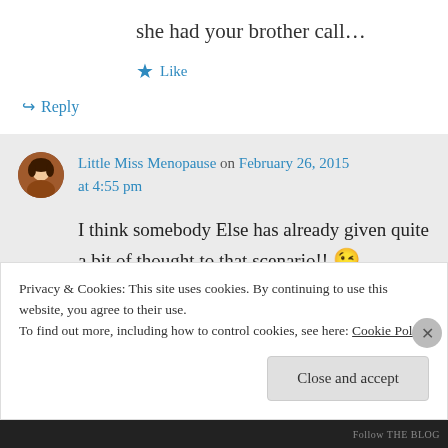she had your brother call…
Like
Reply
Little Miss Menopause on February 26, 2015 at 4:55 pm
I think somebody Else has already given quite a bit of thought to that scenario!! 😉
Privacy & Cookies: This site uses cookies. By continuing to use this website, you agree to their use.
To find out more, including how to control cookies, see here: Cookie Policy
Close and accept